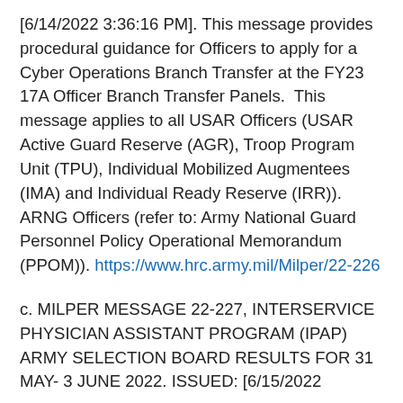[6/14/2022 3:36:16 PM]. This message provides procedural guidance for Officers to apply for a Cyber Operations Branch Transfer at the FY23 17A Officer Branch Transfer Panels.  This message applies to all USAR Officers (USAR Active Guard Reserve (AGR), Troop Program Unit (TPU), Individual Mobilized Augmentees (IMA) and Individual Ready Reserve (IRR)).  ARNG Officers (refer to: Army National Guard Personnel Policy Operational Memorandum (PPOM)). https://www.hrc.army.mil/Milper/22-226
c. MILPER MESSAGE 22-227, INTERSERVICE PHYSICIAN ASSISTANT PROGRAM (IPAP) ARMY SELECTION BOARD RESULTS FOR 31 MAY- 3 JUNE 2022. ISSUED: [6/15/2022